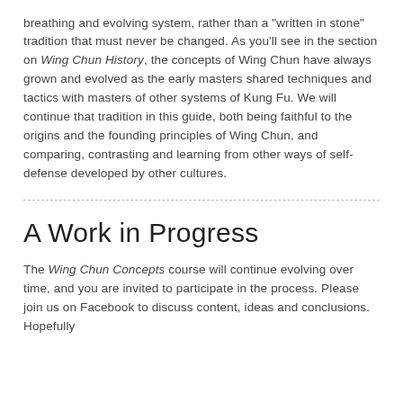breathing and evolving system, rather than a "written in stone" tradition that must never be changed. As you'll see in the section on Wing Chun History, the concepts of Wing Chun have always grown and evolved as the early masters shared techniques and tactics with masters of other systems of Kung Fu. We will continue that tradition in this guide, both being faithful to the origins and the founding principles of Wing Chun, and comparing, contrasting and learning from other ways of self-defense developed by other cultures.
A Work in Progress
The Wing Chun Concepts course will continue evolving over time, and you are invited to participate in the process. Please join us on Facebook to discuss content, ideas and conclusions. Hopefully